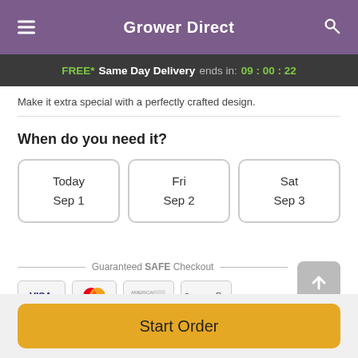Grower Direct
FREE* Same Day Delivery ends in: 09:00:22
Make it extra special with a perfectly crafted design.
When do you need it?
Today
Sep 1
Fri
Sep 2
Sat
Sep 3
Guaranteed SAFE Checkout
[Figure (other): Payment method icons: VISA, Mastercard, American Express, Apple Pay]
Start Order